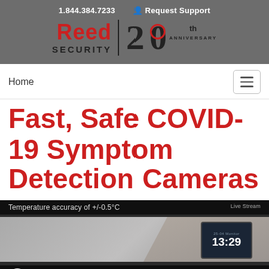1.844.384.7233  Request Support
[Figure (logo): Reed Security 20th Anniversary logo — red 'Reed' text, black 'SECURITY' below, vertical divider, large '20' with red circle and 'th ANNIVERSARY' text]
Home
Fast, Safe COVID-19 Symptom Detection Cameras
[Figure (screenshot): Video thumbnail showing Reed Security REEDHD™ Fever Screening Terminal with text 'Temperature accuracy of +/-0.5°C' and a monitor displaying '13:29']